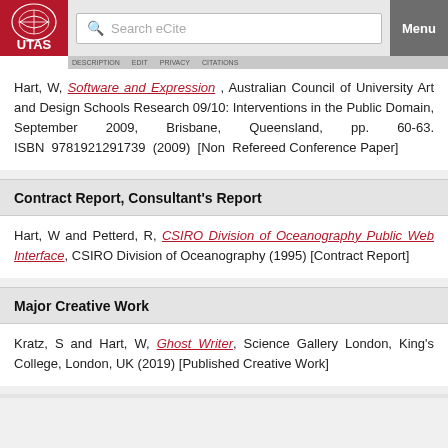UTAS eCite | Search eCite | Menu
Hart, W, Software and Expression, Australian Council of University Art and Design Schools Research 09/10: Interventions in the Public Domain, September 2009, Brisbane, Queensland, pp. 60-63. ISBN 9781921291739 (2009) [Non Refereed Conference Paper]
Contract Report, Consultant's Report
Hart, W and Petterd, R, CSIRO Division of Oceanography Public Web Interface, CSIRO Division of Oceanography (1995) [Contract Report]
Major Creative Work
Kratz, S and Hart, W, Ghost Writer, Science Gallery London, King's College, London, UK (2019) [Published Creative Work]